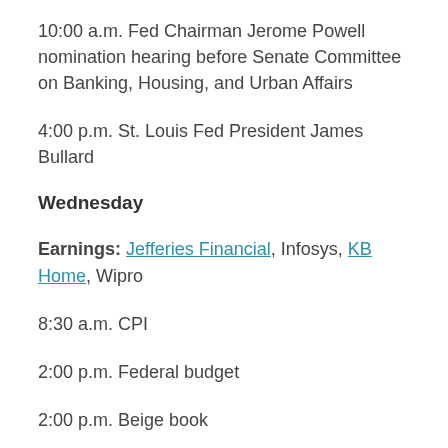10:00 a.m. Fed Chairman Jerome Powell nomination hearing before Senate Committee on Banking, Housing, and Urban Affairs
4:00 p.m. St. Louis Fed President James Bullard
Wednesday
Earnings: Jefferies Financial, Infosys, KB Home, Wipro
8:30 a.m. CPI
2:00 p.m. Federal budget
2:00 p.m. Beige book